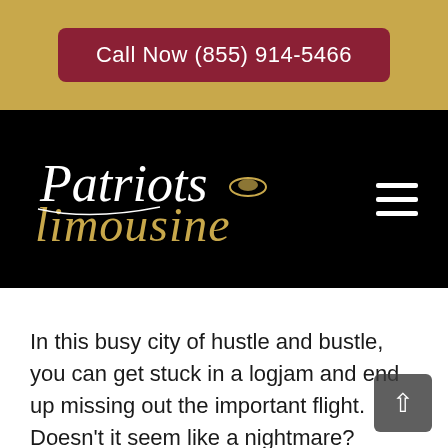Call Now (855) 914-5466
[Figure (logo): Patriots Limousine logo with script white 'Patriots' text and gold italic 'Limousine' text on black background, with hamburger menu icon on right]
In this busy city of hustle and bustle, you can get stuck in a logjam and end up missing out the important flight. Doesn't it seem like a nightmare? Losing a flight then ending up losing an important meeting or ended up missing an important event. Now just relax because Patriots Limousine has taken the